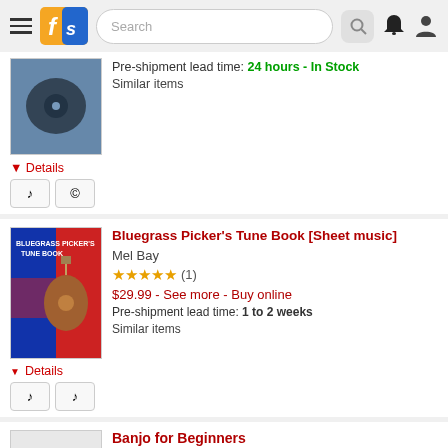Header with logo, search, bell, and user icons
Pre-shipment lead time: 24 hours - In Stock
Similar items
Details
Bluegrass Picker's Tune Book [Sheet music]
Mel Bay
★★★★★ (1)
$29.99 - See more - Buy online
Pre-shipment lead time: 1 to 2 weeks
Similar items
Details
Banjo for Beginners
Banjo [CD]
Alfred Publishing
$10.00 - See more - Buy online
Pre-shipment lead time: 4 to 6 business days
Similar items
Details